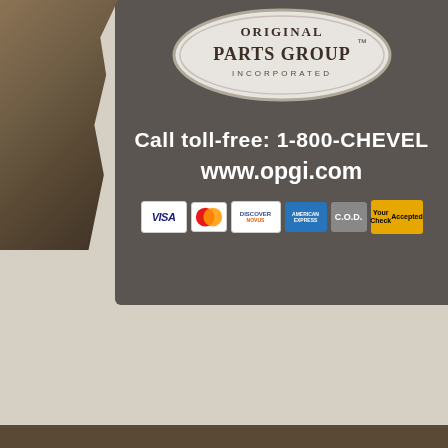[Figure (photo): A photograph of a catalog back cover for Original Parts Group Incorporated. Shows a dark gray/charcoal background with an oval logo at top reading 'ORIGINAL PARTS GROUP INCORPORATED', text 'Call toll-free: 1-800-CHEVEL' and 'www.opgi.com', payment icons (VISA, MasterCard, Discover, American Express, C.O.D., Your Check Accepted). Lower portion shows a beige/cream background (tabletop). Bottom strip is dark brown.]